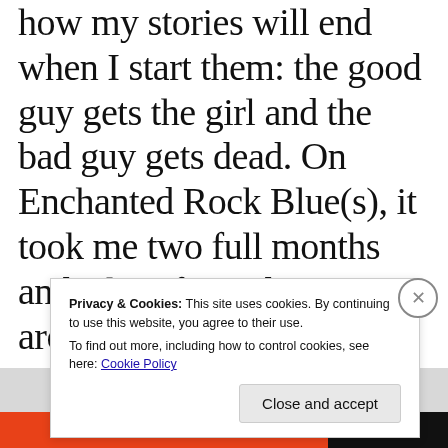how my stories will end when I start them: the good guy gets the girl and the bad guy gets dead. On Enchanted Rock Blue(s), it took me two full months and a lot of wandering around the remote and unvisited parts of
Privacy & Cookies: This site uses cookies. By continuing to use this website, you agree to their use.
To find out more, including how to control cookies, see here: Cookie Policy
Close and accept